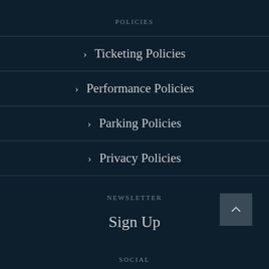POLICIES
> Ticketing Policies
> Performance Policies
> Parking Policies
> Privacy Policies
NEWSLETTER
Sign Up
SOCIAL